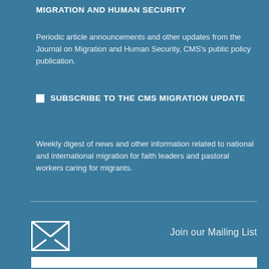MIGRATION AND HUMAN SECURITY
Periodic article announcements and other updates from the Journal on Migration and Human Security, CMS's public policy publication.
SUBSCRIBE TO THE CMS MIGRATION UPDATE
Weekly digest of news and other information related to national and international migration for faith leaders and pastoral workers caring for migrants.
[Figure (illustration): Envelope/mail icon representing mailing list signup]
Join our Mailing List